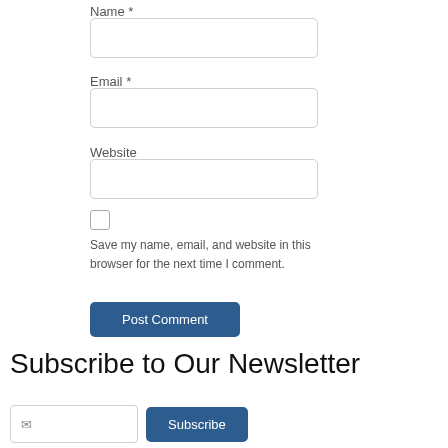Name *
Email *
Website
Save my name, email, and website in this browser for the next time I comment.
Post Comment
Subscribe to Our Newsletter
Subscribe